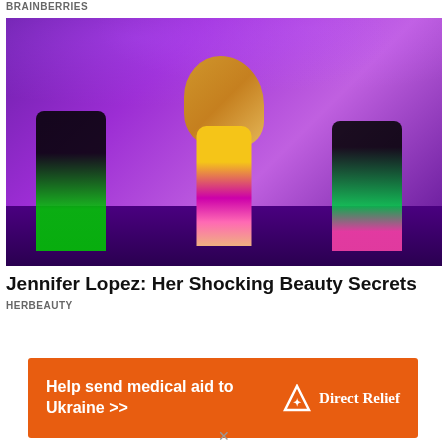BRAINBERRIES
[Figure (photo): Jennifer Lopez performing on stage in a colorful outfit with dancers in neon green and pink outfits against a purple-lit background]
Jennifer Lopez: Her Shocking Beauty Secrets
HERBEAUTY
[Figure (other): Direct Relief advertisement banner: Help send medical aid to Ukraine >> with Direct Relief logo on orange background]